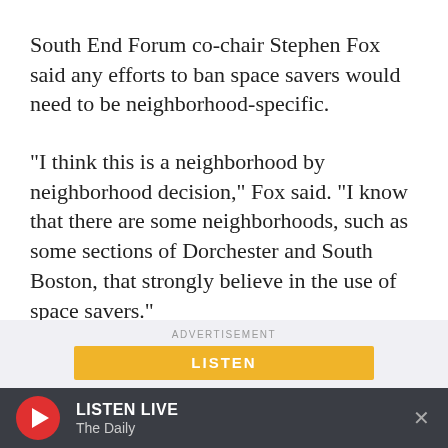South End Forum co-chair Stephen Fox said any efforts to ban space savers would need to be neighborhood-specific.
"I think this is a neighborhood by neighborhood decision," Fox said. "I know that there are some neighborhoods, such as some sections of Dorchester and South Boston, that strongly believe in the use of space savers."
ADVERTISEMENT
LISTEN LIVE
The Daily